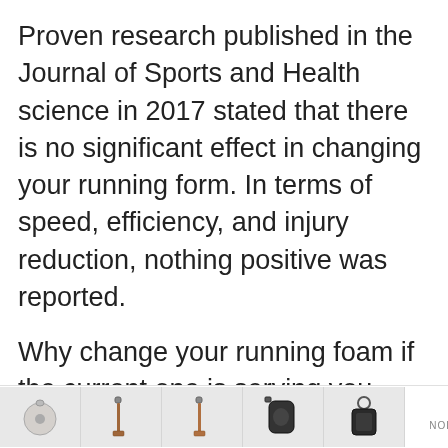Proven research published in the Journal of Sports and Health science in 2017 stated that there is no significant effect in changing your running form. In terms of speed, efficiency, and injury reduction, nothing positive was reported.
Why change your running foam if the current one is serving you well? There is no plausible reason to change your running form. Adapting to a new one will take you time, thus
[Figure (other): Advertisement banner showing leather accessories (bag, straps, earphone case, keychain) with a 'DX' arrow icon and 'NOEME' label]